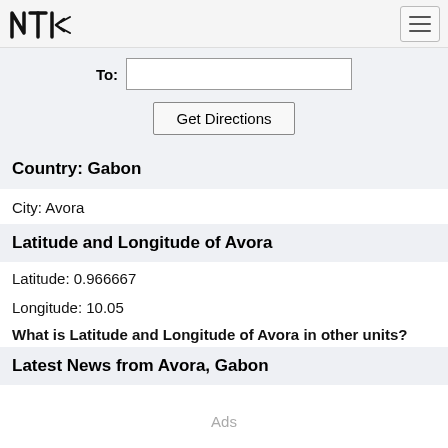NTI logo and navigation
To:
Get Directions
Country: Gabon
City: Avora
Latitude and Longitude of Avora
Latitude: 0.966667
Longitude: 10.05
What is Latitude and Longitude of Avora in other units?
Latest News from Avora, Gabon
Ads